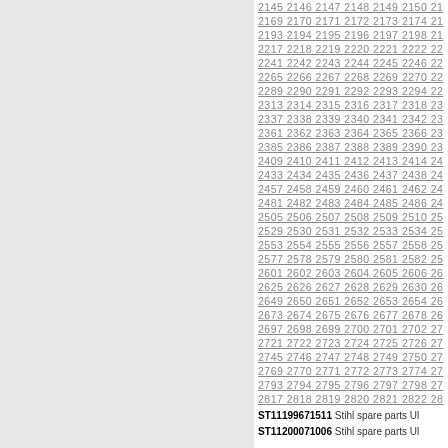2145 2146 2147 2148 2149 2150 21... 2169 2170 2171 2172 2173 2174 21... 2193 2194 2195 2196 2197 2198 21... 2217 2218 2219 2220 2221 2222 22... 2241 2242 2243 2244 2245 2246 22... 2265 2266 2267 2268 2269 2270 22... 2289 2290 2291 2292 2293 2294 22... 2313 2314 2315 2316 2317 2318 23... 2337 2338 2339 2340 2341 2342 23... 2361 2362 2363 2364 2365 2366 23... 2385 2386 2387 2388 2389 2390 23... 2409 2410 2411 2412 2413 2414 24... 2433 2434 2435 2436 2437 2438 24... 2457 2458 2459 2460 2461 2462 24... 2481 2482 2483 2484 2485 2486 24... 2505 2506 2507 2508 2509 2510 25... 2529 2530 2531 2532 2533 2534 25... 2553 2554 2555 2556 2557 2558 25... 2577 2578 2579 2580 2581 2582 25... 2601 2602 2603 2604 2605 2606 26... 2625 2626 2627 2628 2629 2630 26... 2649 2650 2651 2652 2653 2654 26... 2673 2674 2675 2676 2677 2678 26... 2697 2698 2699 2700 2701 2702 27... 2721 2722 2723 2724 2725 2726 27... 2745 2746 2747 2748 2749 2750 27... 2769 2770 2771 2772 2773 2774 27... 2793 2794 2795 2796 2797 2798 27... 2817 2818 2819 2820 2821 2822 28...
ST11199671511   Stihl spare parts Ul...
ST11200071006   Stihl spare parts Ul...